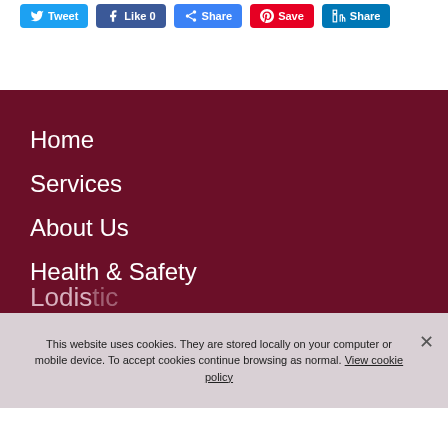[Figure (screenshot): Social sharing buttons: Tweet, Like 0, Share, Save, Share (LinkedIn)]
Home
Services
About Us
Health & Safety
This website uses cookies. They are stored locally on your computer or mobile device. To accept cookies continue browsing as normal. View cookie policy